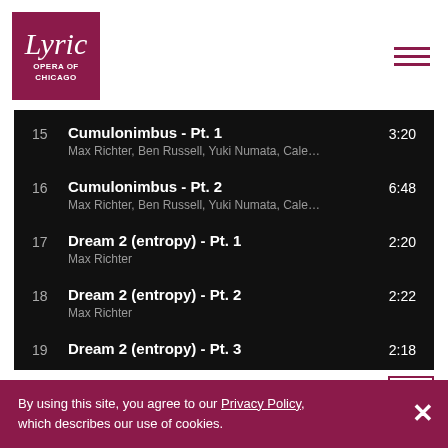[Figure (logo): Lyric Opera of Chicago logo — white italic text 'Lyric' over 'OPERA OF CHICAGO' on dark magenta/burgundy square background]
| # | Title / Artist | Duration |
| --- | --- | --- |
| 15 | Cumulonimbus - Pt. 1
Max Richter, Ben Russell, Yuki Numata, Cale… | 3:20 |
| 16 | Cumulonimbus - Pt. 2
Max Richter, Ben Russell, Yuki Numata, Cale… | 6:48 |
| 17 | Dream 2 (entropy) - Pt. 1
Max Richter | 2:20 |
| 18 | Dream 2 (entropy) - Pt. 2
Max Richter | 2:22 |
| 19 | Dream 2 (entropy) - Pt. 3 | 2:18 |
By using this site, you agree to our Privacy Policy, which describes our use of cookies.